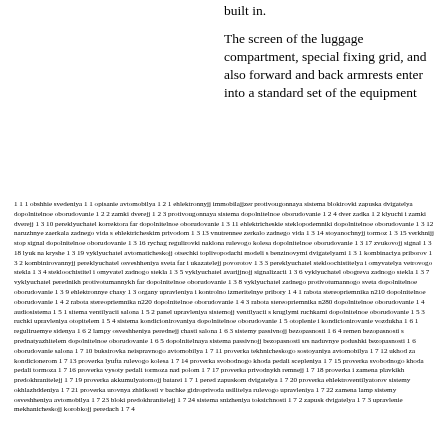built in.
The screen of the luggage compartment, special fixing grid, and also forward and back armrests enter into a standard set of the equipment
1 1 1 obshhie svedeniya 1 1 opisanie avtomobilya 1 2 1 ehlektronnyjj immobilajjzer protivougonnaya sistema blokirovki zapuska dvigatelya dopolnitelnoe oborudovanie 1 2 2 zamki dverejj 1 2 3 protivougonnaya sistema dopolnitelnoe oborudovanie 1 2 4 dver zadka 1 2 klyuchi i zamki dverejj 1 3 10 pereklyuchatel korrektora far dopolnitelnoe oborudovanie 1 3 11 ehlektricheskie steklopodemniki dopolnitelnoe oborudovanie 1 3 12 naruzhnye zaerkala zadnego vida s ehlektricheskim privodom 1 3 13 vnutrennee zerkalo zadnego vida 1 3 14 stoyanochnyjj tormoz 1 3 15 verkhnijj stop signal dopolnitelnoe oborudovanie 1 3 16 rychag regulirovki naklona rulevogo kolesa dopolnitelnoe oborudovanie 1 3 17 zvukovojj signal 1 3 18 lyuk na kryshe 1 3 19 vyklyuchatel avtomaticheskojj otsechki toplivopodachi modeli s benzinovymi dvigatelyami 1 3 1 kombinaciya priborov 1 3 2 kombinirovannyjj pereklyuchatel osveshheniya sveta far i ukazatelejj povorotov 1 3 3 pereklyuchatel stekloochistitelya i omyvatelya vetrovogo stekla 1 3 4 stekloochistitel i omyvatel zadnogo stekla 1 3 5 vyklyuchatel avarijjnojj signalizacii 1 3 6 vyklyuchatel obogreva zadnogo stekla 1 3 7 vyklyuchatel perednikh protivotumannykh far dopolnitelnoe oborudovanie 1 3 8 vyklyuchatel zadnego protivotumannogo sveta dopolnitelnoe oborudovanie 1 3 9 ehlektronnye chasy 1 3 organy upravleniya i kontrolno izmeritelnye pribory 1 4 1 rabota stereopriemnika n210 dopolnitelnoe oborudovanie 1 4 2 rabota stereopriemnika n220 dopolnitelnoe oborudovanie 1 4 3 rabota stereopriemnika n280 dopolnitelnoe oborudovanie 1 4 audiosistema 1 5 1 sitema ventilyacii salona 1 5 2 panel upravleniya sistemojj ventilyacii s kruglymi ruchkami dopolnitelnoe oborudovanie 1 5 3 ruchki upravleniya otopitelem 1 5 4 sistema kondicionirovaniya dopolnitelnoe oborudovanie 1 5 otoplenie i kondicionirovanie vozdukha 1 6 1 reguliruemye sidenya 1 6 2 lampy osveshheniya perednejj chasti salona 1 6 3 sistemy passivnojj bezopasnosti 1 6 4 remen bezopasnosti s prednatyazhitelem dopolnitelnoe oborudovanie 1 6 5 dopolnitelnaya sistema passivnojj bezopasnosti srs naduvnye podushki bezopasnosti 1 6 oborudovanie salona 1 7 10 buksirovka neispravnogo avtomobilya 1 7 11 proverka tekhnicheskogo sostoyaniya avtomobilya 1 7 12 ukhod za kondicionerom 1 7 13 proverka lyufta rulevogo kolesa 1 7 14 proverka svobodnogo khoda pedali scepleniya 1 7 15 proverka svobodnogo khoda pedali tormoza 1 7 16 proverka vysoty pedali tormoza nad polom 1 7 17 proverka privodnykh remnejj 1 7 18 proverka i zamena plavkikh predokhranitelejj 1 7 19 proverka akkumulyatornojj batarei 1 7 1 pered zapuskom dvigatelya 1 7 20 proverka ehlektroventilyatorov sistemy okhlazhddeniya 1 7 21 proverka urovnya zhidkosti v bachke gidroprivoda usilitelya rulevogo upravleniya 1 7 22 zamena lamp sistemy osveshheniya avtomobilya 1 7 23 bloki predokhranitelejj 1 7 24 sistema snizheniya toksichnosti 1 7 2 zapusk dvigatelya 1 7 3 upravlenie mekhanicheskojj korobkojj peredach 1 7 4